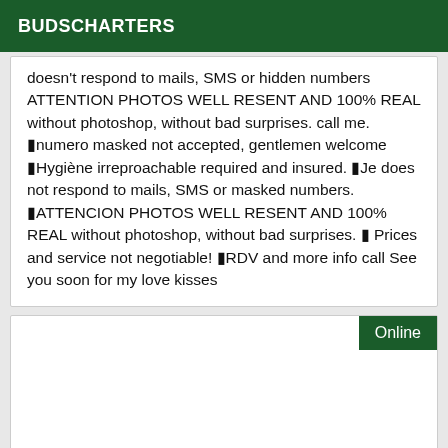BUDSCHARTERS
doesn't respond to mails, SMS or hidden numbers ATTENTION PHOTOS WELL RESENT AND 100% REAL without photoshop, without bad surprises. call me. ▮numero masked not accepted, gentlemen welcome ▮Hygiène irreproachable required and insured. ▮Je does not respond to mails, SMS or masked numbers. ▮ATTENCION PHOTOS WELL RESENT AND 100% REAL without photoshop, without bad surprises. ▮ Prices and service not negotiable! ▮RDV and more info call See you soon for my love kisses
Online